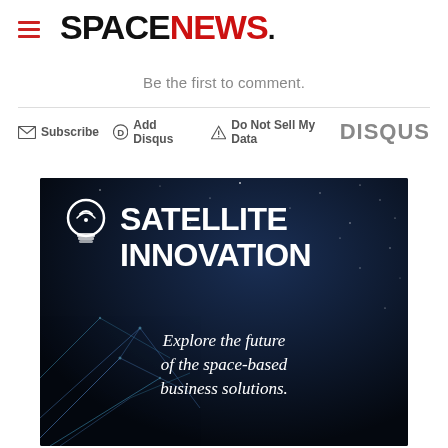SPACENEWS.
Be the first to comment.
Subscribe  Add Disqus  Do Not Sell My Data    DISQUS
[Figure (infographic): Satellite Innovation advertisement on dark starfield background with lightbulb icon and text: SATELLITE INNOVATION — Explore the future of the space-based business solutions.]